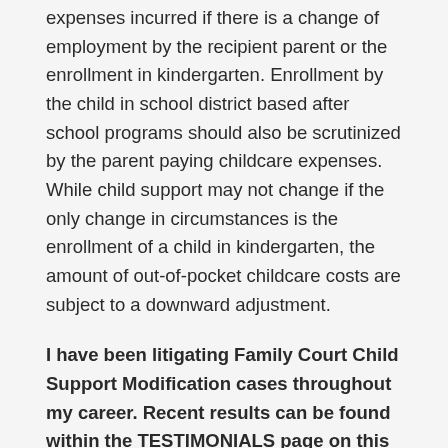expenses incurred if there is a change of employment by the recipient parent or the enrollment in kindergarten. Enrollment by the child in school district based after school programs should also be scrutinized by the parent paying childcare expenses. While child support may not change if the only change in circumstances is the enrollment of a child in kindergarten, the amount of out-of-pocket childcare costs are subject to a downward adjustment.
I have been litigating Family Court Child Support Modification cases throughout my career. Recent results can be found within the TESTIMONIALS page on this website.
Focusing on the needs of the client and the results sought have always been a hallmark of my Long Island